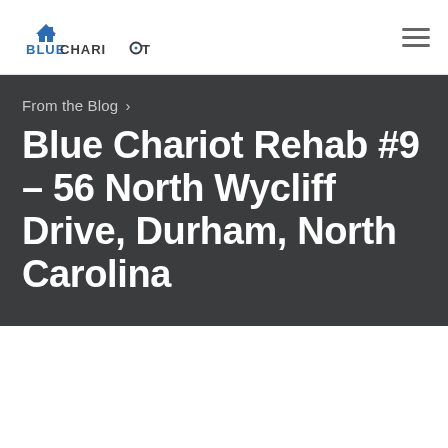Blue Chariot
From the Blog >
Blue Chariot Rehab #9 – 56 North Wycliff Drive, Durham, North Carolina